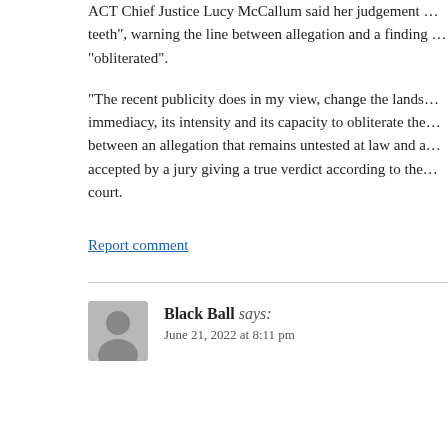ACT Chief Justice Lucy McCallum said her judgement … teeth", warning the line between allegation and a finding … "obliterated".
"The recent publicity does in my view, change the lands… immediacy, its intensity and its capacity to obliterate the… between an allegation that remains untested at law and a… accepted by a jury giving a true verdict according to the… court.
Report comment
Black Ball says:
June 21, 2022 at 8:11 pm